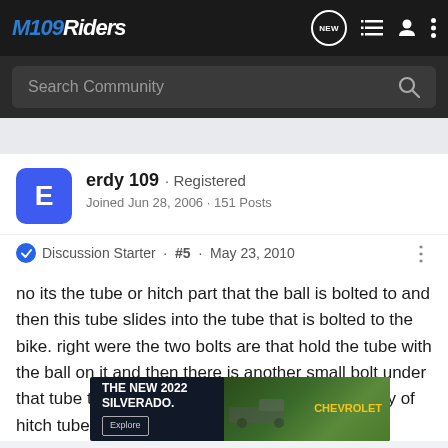M109Riders
Search Community
erdy 109 · Registered
Joined Jun 28, 2006 · 151 Posts
Discussion Starter · #5 · May 23, 2010
no its the tube or hitch part that the ball is bolted to and then this tube slides into the tube that is bolted to the bike. right were the two bolts are that hold the tube with the ball on it and then there is another small bolt under that tube that you thighten up to take the slack ouy of hitch tube is were mine broke so there was not the bump .
[Figure (screenshot): Advertisement for The New 2022 Silverado by Chevrolet with Explore button]